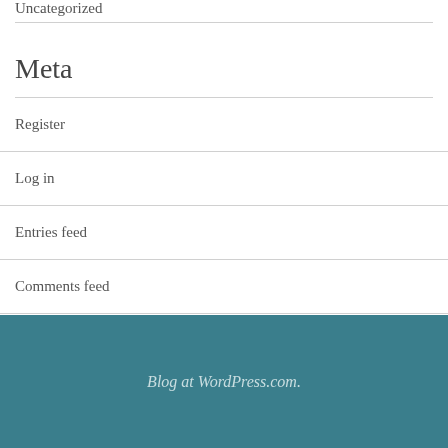Uncategorized
Meta
Register
Log in
Entries feed
Comments feed
WordPress.com
Blog at WordPress.com.